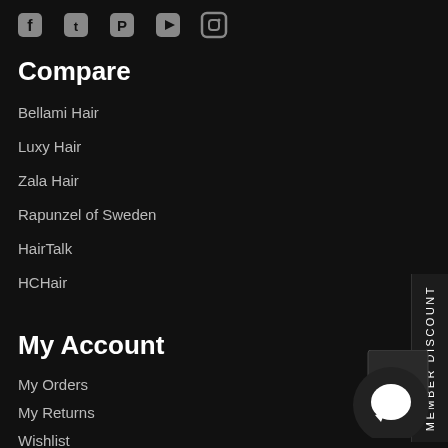[Social media icons: Facebook, Twitter, Pinterest, YouTube, Instagram]
Compare
Bellami Hair
Luxy Hair
Zala Hair
Rapunzel of Sweden
HairTalk
HCHair
My Account
My Orders
My Returns
Wishlist
Loyalty Program
MEMBER DISCOUNT